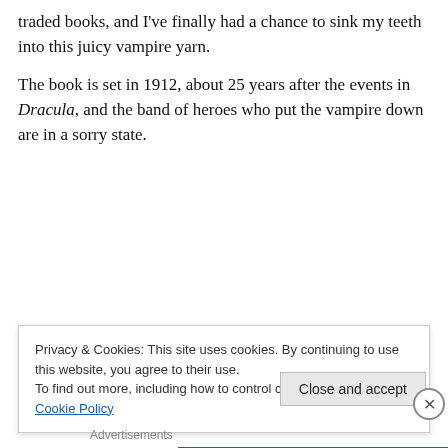traded books, and I've finally had a chance to sink my teeth into this juicy vampire yarn.
The book is set in 1912, about 25 years after the events in Dracula, and the band of heroes who put the vampire down are in a sorry state.
[Figure (infographic): Red advertisement banner with white text reading 'The best stories on the web – ours, and everyone else's.' and a black 'Start reading' button]
Privacy & Cookies: This site uses cookies. By continuing to use this website, you agree to their use.
To find out more, including how to control cookies, see here: Cookie Policy
Close and accept
Advertisements